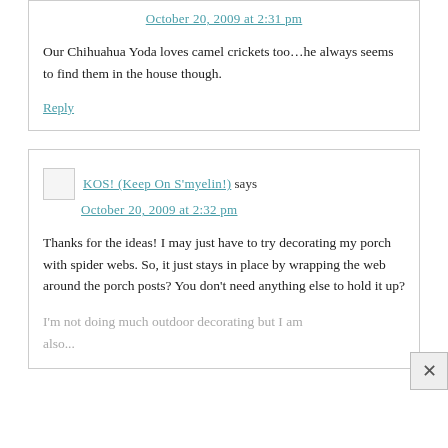October 20, 2009 at 2:31 pm
Our Chihuahua Yoda loves camel crickets too…he always seems to find them in the house though.
Reply
KOS! (Keep On S'myelin!) says
October 20, 2009 at 2:32 pm
Thanks for the ideas! I may just have to try decorating my porch with spider webs. So, it just stays in place by wrapping the web around the porch posts? You don't need anything else to hold it up?
I'm not doing much outdoor decorating but I am also...